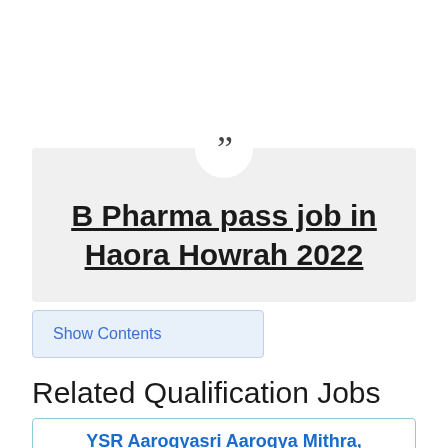[Figure (other): Quote block with quotation mark icon in a circle on a light grey background, containing bold underlined title text 'B Pharma pass job in Haora Howrah 2022']
Show Contents
Related Qualification Jobs
YSR Aarogyasri Aarogya Mithra,